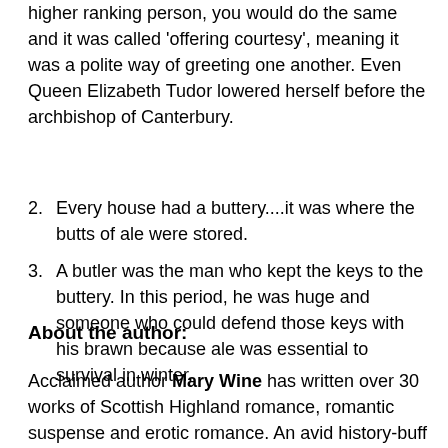higher ranking person, you would do the same and it was called 'offering courtesy', meaning it was a polite way of greeting one another. Even Queen Elizabeth Tudor lowered herself before the archbishop of Canterbury.
Every house had a buttery....it was where the butts of ale were stored.
A butler was the man who kept the keys to the buttery. In this period, he was huge and someone who could defend those keys with his brawn because ale was essential to survival in winter.
About the author:
Acclaimed author Mary Wine has written over 30 works of Scottish Highland romance, romantic suspense and erotic romance. An avid history-buff and